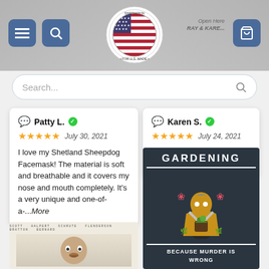[Figure (screenshot): E-commerce website header with hamburger menu icon, search icon, American flag circular logo for Shirtnation, and shopping cart icon on right]
Search...
Patty L. ✓
★★★★★  July 30, 2021
I love my Shetland Sheepdog Facemask! The material is soft and breathable and it covers my nose and mouth completely. It's a very unique and one-of-a-...More
Karen S. ✓
★★★★★  July 24, 2021
Had many comments on our mat our visitors love it .
[Figure (photo): The Office TV show merchandise poster/banner with cast names at top and Michael Scott face]
[Figure (photo): Dark navy flag/banner with GARDENING at top, illustrated figure holding plants, and text BECAUSE MURDER IS WRONG at bottom]